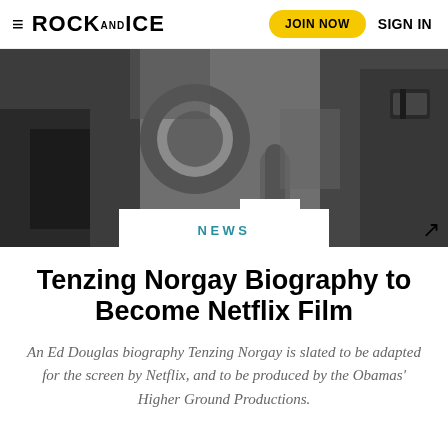≡ ROCK AND ICE  JOIN NOW  SIGN IN
[Figure (photo): Black and white close-up photograph of mountaineering gear, showing jackets, oxygen mask tubing, and climbing equipment]
NEWS
Tenzing Norgay Biography to Become Netflix Film
An Ed Douglas biography Tenzing Norgay is slated to be adapted for the screen by Netflix, and to be produced by the Obamas' Higher Ground Productions.